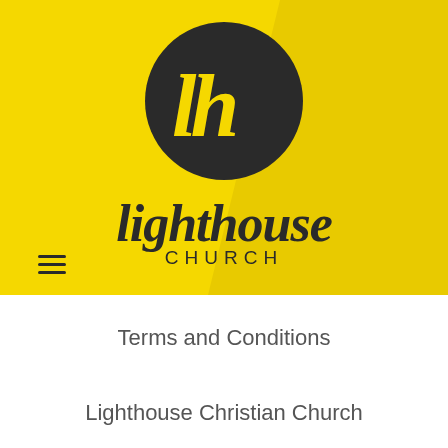[Figure (logo): Lighthouse Church logo: black circle with yellow cursive 'lh' letters, on a yellow banner background with 'lighthouse' in cursive script below and 'CHURCH' in spaced caps beneath that. A hamburger menu icon appears at the lower left.]
Terms and Conditions
Lighthouse Christian Church